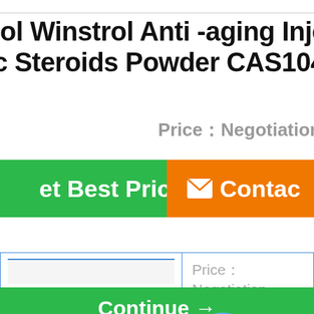ol Winstrol Anti -aging Injectable Steroids Powder CAS10418-03-
Price：Negotiation
[Figure (screenshot): Green 'Get Best Price' button on the left, orange 'Contact' button on the right, with a blue chat bubble overlay labeled 'Chat Now' in the center]
|  | Price：
Negotiation |
Continue →